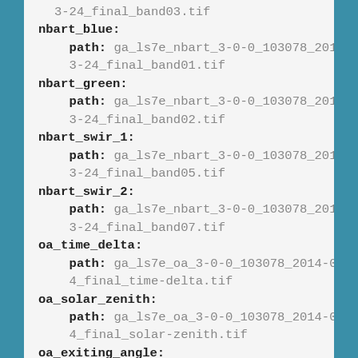3-24_final_band03.tif
nbart_blue:
  path: ga_ls7e_nbart_3-0-0_103078_2014-03-24_final_band01.tif
nbart_green:
  path: ga_ls7e_nbart_3-0-0_103078_2014-03-24_final_band02.tif
nbart_swir_1:
  path: ga_ls7e_nbart_3-0-0_103078_2014-03-24_final_band05.tif
nbart_swir_2:
  path: ga_ls7e_nbart_3-0-0_103078_2014-03-24_final_band07.tif
oa_time_delta:
  path: ga_ls7e_oa_3-0-0_103078_2014-03-24_final_time-delta.tif
oa_solar_zenith:
  path: ga_ls7e_oa_3-0-0_103078_2014-03-24_final_solar-zenith.tif
oa_exiting_angle: